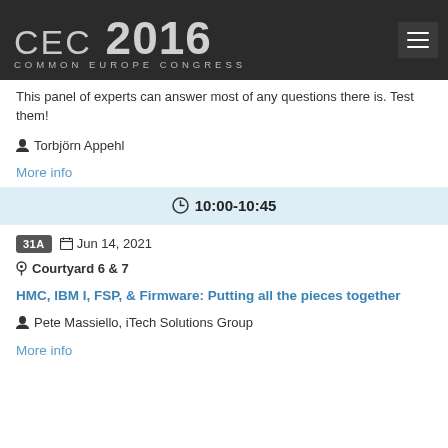CEC 2016 COMMON EUROPE CONGRESS
This panel of experts can answer most of any questions there is. Test them!
Torbjörn Appehl
More info
10:00-10:45
31A  Jun 14, 2021
Courtyard 6 & 7
HMC, IBM I, FSP, & Firmware: Putting all the pieces together
Pete Massiello, iTech Solutions Group
More info